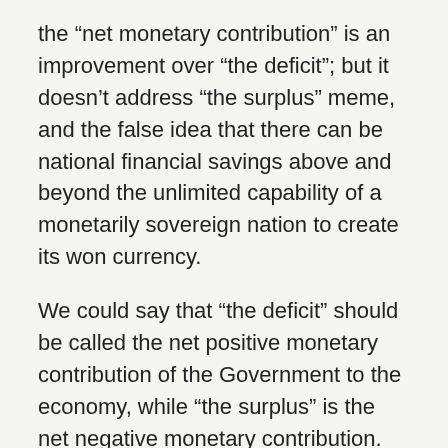the “net monetary contribution” is an improvement over “the deficit”; but it doesn’t address “the surplus” meme, and the false idea that there can be national financial savings above and beyond the unlimited capability of a monetarily sovereign nation to create its won currency.
We could say that “the deficit” should be called the net positive monetary contribution of the Government to the economy, while “the surplus” is the net negative monetary contribution. But I don’t think this will work as well for spreading the MMT point of view as other alternatives we may arrive at, because as soon one gets to terminology like net positive and net negative contribution, people’s eyes glaze over more than they do when one uses the “deficit” and “surplus” terminology.
So, here’s another proposal for renaming/reframing key terms in monetarily sovereign government accounting